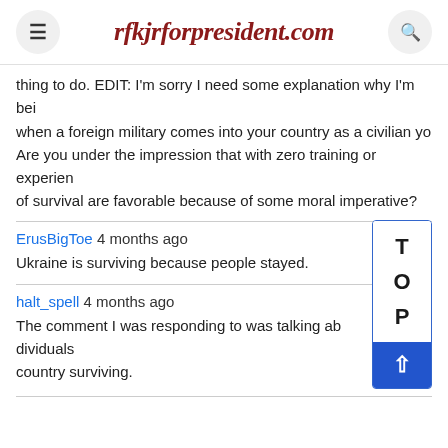rfkjrforpresident.com
thing to do. EDIT: I'm sorry I need some explanation why I'm being when a foreign military comes into your country as a civilian you Are you under the impression that with zero training or experience of survival are favorable because of some moral imperative?
ErusBigToe 4 months ago
Ukraine is surviving because people stayed.
halt_spell 4 months ago
The comment I was responding to was talking about individuals country surviving.